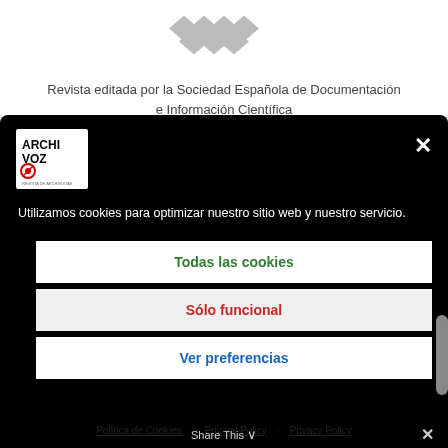[Figure (logo): Gray diamond pattern logo for SEDIC journal website]
Revista editada por la Sociedad Española de Documentación e Información Científica
[Figure (screenshot): Cookie consent modal on black background with Archivoz logo, close button, cookie message, and three option buttons: Todas las cookies, Sólo funcional, Ver preferencias. Footer links: Política de Cookies, Privacy Policy, Privacy Policy. Share This bar at bottom.]
Utilizamos cookies para optimizar nuestro sitio web y nuestro servicio.
Todas las cookies
Sólo funcional
Ver preferencias
Política de Cookies · Privacy Policy · Privacy Policy
Share This